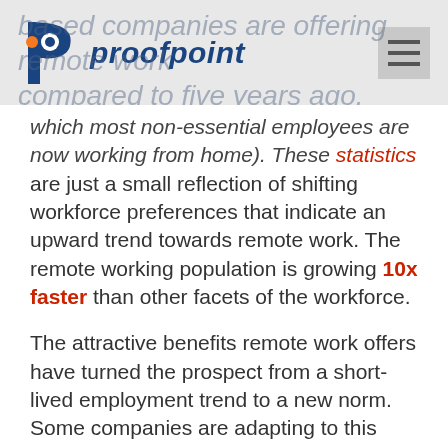proofpoint [logo with hamburger menu]
based companies are offering remote work compared to five years ago. These statistics do not take into account the recent Covid-19 situation, in which most non-essential employees are now working from home). These statistics are just a small reflection of shifting workforce preferences that indicate an upward trend towards remote work. The remote working population is growing 10x faster than other facets of the workforce.
The attractive benefits remote work offers have turned the prospect from a short-lived employment trend to a new norm. Some companies are adapting to this trend by hiring more remote workers. Sixteen percent